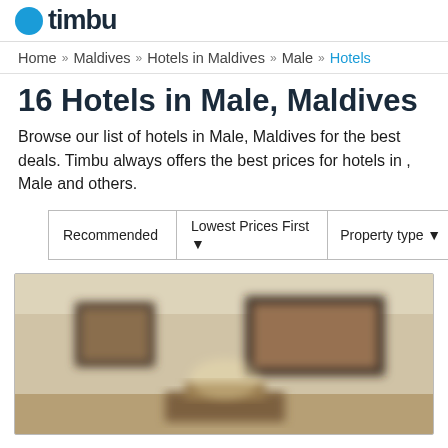timbu (logo)
Home » Maldives » Hotels in Maldives » Male » Hotels
16 Hotels in Male, Maldives
Browse our list of hotels in Male, Maldives for the best deals. Timbu always offers the best prices for hotels in , Male and others.
| Recommended | Lowest Prices First ▼ | Property type ▼ |
| --- | --- | --- |
[Figure (photo): Blurred hotel room interior showing wall art paintings and furniture with warm beige/brown tones]